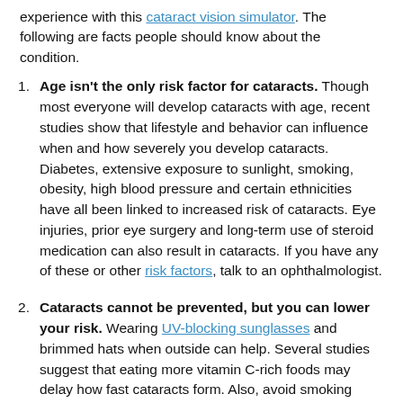experience with this cataract vision simulator. The following are facts people should know about the condition.
Age isn't the only risk factor for cataracts. Though most everyone will develop cataracts with age, recent studies show that lifestyle and behavior can influence when and how severely you develop cataracts. Diabetes, extensive exposure to sunlight, smoking, obesity, high blood pressure and certain ethnicities have all been linked to increased risk of cataracts. Eye injuries, prior eye surgery and long-term use of steroid medication can also result in cataracts. If you have any of these or other risk factors, talk to an ophthalmologist.
Cataracts cannot be prevented, but you can lower your risk. Wearing UV-blocking sunglasses and brimmed hats when outside can help. Several studies suggest that eating more vitamin C-rich foods may delay how fast cataracts form. Also, avoid smoking cigarettes,